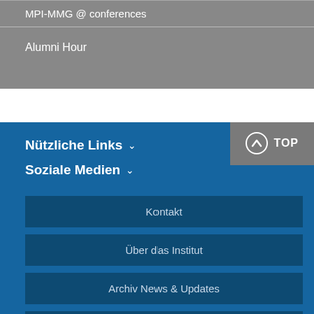MPI-MMG @ conferences
Alumni Hour
Nützliche Links
Soziale Medien
Kontakt
Über das Institut
Archiv News & Updates
Intranet